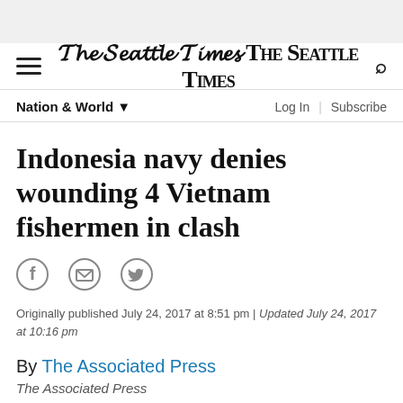The Seattle Times
Nation & World
Indonesia navy denies wounding 4 Vietnam fishermen in clash
Originally published July 24, 2017 at 8:51 pm | Updated July 24, 2017 at 10:16 pm
By The Associated Press
The Associated Press